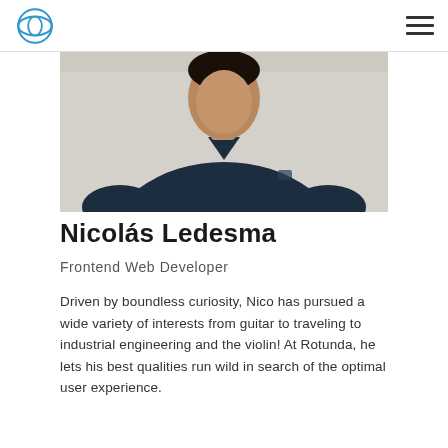Rotunda logo and navigation menu
[Figure (photo): Photo of Nicolás Ledesma, a man wearing a dark navy t-shirt, shown from the waist up against a light background.]
Nicolás Ledesma
Frontend Web Developer
Driven by boundless curiosity, Nico has pursued a wide variety of interests from guitar to traveling to industrial engineering and the violin! At Rotunda, he lets his best qualities run wild in search of the optimal user experience.